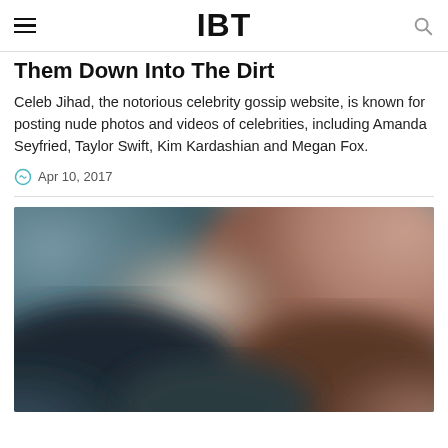IBT
Them Down Into The Dirt
Celeb Jihad, the notorious celebrity gossip website, is known for posting nude photos and videos of celebrities, including Amanda Seyfried, Taylor Swift, Kim Kardashian and Megan Fox.
Apr 10, 2017
[Figure (photo): A blurred/obscured photograph, the main image for the article.]